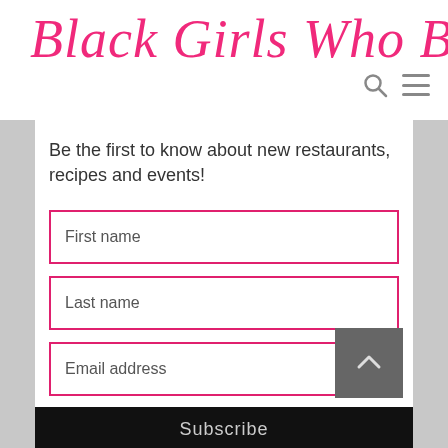Black Girls Who Brunch
Be the first to know about new restaurants, recipes and events!
First name
Last name
Email address
Subscribe